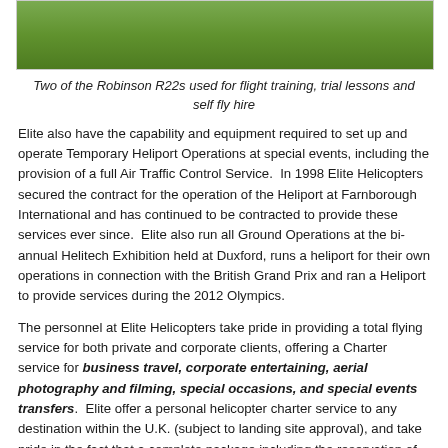[Figure (photo): Grass airfield with helicopter visible at top, green lawn background]
Two of the Robinson R22s used for flight training, trial lessons and self fly hire
Elite also have the capability and equipment required to set up and operate Temporary Heliport Operations at special events, including the provision of a full Air Traffic Control Service. In 1998 Elite Helicopters secured the contract for the operation of the Heliport at Farnborough International and has continued to be contracted to provide these services ever since. Elite also run all Ground Operations at the bi-annual Helitech Exhibition held at Duxford, runs a heliport for their own operations in connection with the British Grand Prix and ran a Heliport to provide services during the 2012 Olympics.
The personnel at Elite Helicopters take pride in providing a total flying service for both private and corporate clients, offering a Charter service for business travel, corporate entertaining, aerial photography and filming, special occasions, and special events transfers. Elite offer a personal helicopter charter service to any destination within the U.K. (subject to landing site approval), and take pride in the fact that a complete package including the reservation of hotels, restaurants, hire or chauffeur driven cars can all be arranged by the operations team.
Flights to the major sporting events, such as the Festival of Speed,